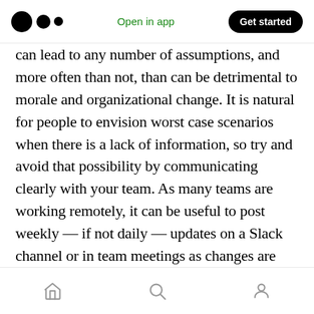Medium logo | Open in app | Get started
can lead to any number of assumptions, and more often than not, than can be detrimental to morale and organizational change. It is natural for people to envision worst case scenarios when there is a lack of information, so try and avoid that possibility by communicating clearly with your team. As many teams are working remotely, it can be useful to post weekly — if not daily — updates on a Slack channel or in team meetings as changes are being made. If you can, engage your team in the decision-making process to help them feel like they helped build the changes themselves rather than having them be imposed
Home | Search | Profile